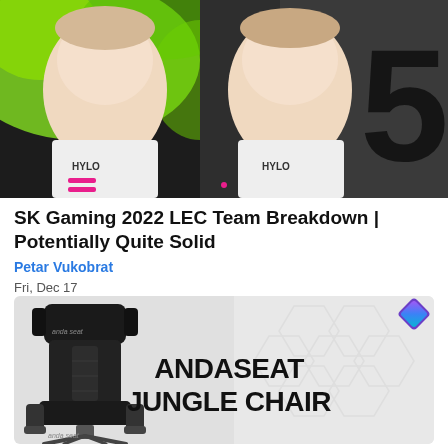[Figure (photo): Two esports players in white SK Gaming / HYLO jerseys posed in front of a green and black graphic background with a large number 5 visible. A pink double-line icon is visible below one player.]
SK Gaming 2022 LEC Team Breakdown | Potentially Quite Solid
Petar Vukobrat
Fri, Dec 17
[Figure (photo): Advertisement for AndaSeat Jungle Chair showing a black gaming chair on the left and bold text 'ANDASEAT JUNGLE CHAIR' on the right, with a geometric grey/white background and a colorful AndaSeat logo in the top right corner.]